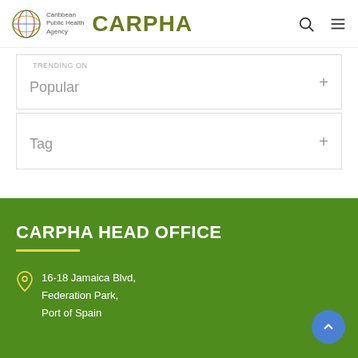[Figure (logo): Caribbean Public Health Agency (CARPHA) logo with globe graphic and wordmark]
Popular
Tag
CARPHA HEAD OFFICE
16-18 Jamaica Blvd, Federation Park, Port of Spain